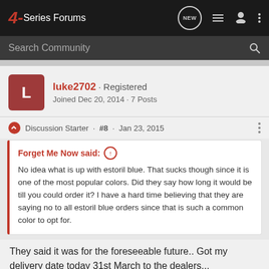4-Series Forums
Search Community
luke2702 · Registered
Joined Dec 20, 2014 · 7 Posts
Discussion Starter · #8 · Jan 23, 2015
Forget Me Now said: ↑
No idea what is up with estoril blue. That sucks though since it is one of the most popular colors. Did they say how long it would be till you could order it? I have a hard time believing that they are saying no to all estoril blue orders since that is such a common color to opt for.
They said it was for the foreseeable future.. Got my delivery date today 31st March to the dealers...